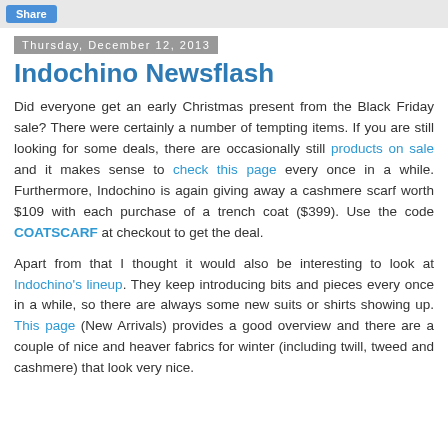Share
Thursday, December 12, 2013
Indochino Newsflash
Did everyone get an early Christmas present from the Black Friday sale? There were certainly a number of tempting items. If you are still looking for some deals, there are occasionally still products on sale and it makes sense to check this page every once in a while. Furthermore, Indochino is again giving away a cashmere scarf worth $109 with each purchase of a trench coat ($399). Use the code COATSCARF at checkout to get the deal.
Apart from that I thought it would also be interesting to look at Indochino's lineup. They keep introducing bits and pieces every once in a while, so there are always some new suits or shirts showing up. This page (New Arrivals) provides a good overview and there are a couple of nice and heaver fabrics for winter (including twill, tweed and cashmere) that look very nice.